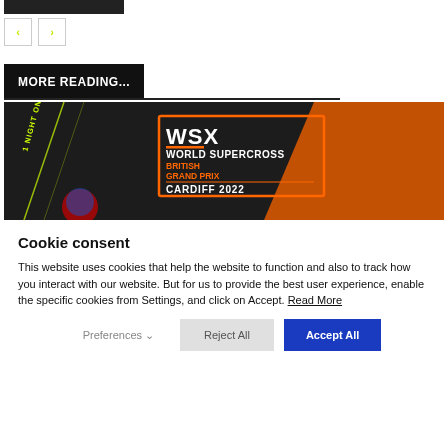[Figure (photo): Dark top image strip, partially visible]
[Figure (other): Navigation previous and next arrow buttons]
MORE READING...
[Figure (photo): WSX World Supercross British Grand Prix Cardiff 2022 promotional banner image with orange and black design]
Cookie consent
This website uses cookies that help the website to function and also to track how you interact with our website. But for us to provide the best user experience, enable the specific cookies from Settings, and click on Accept. Read More
Preferences  Reject All  Accept All